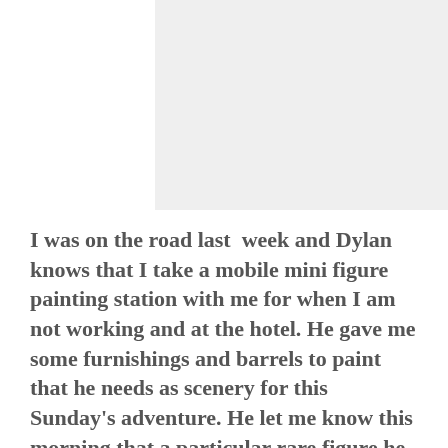[Figure (photo): A light gray rectangular image placeholder at the top of the page]
I was on the road last  week and Dylan knows that I take a mobile mini figure painting station with me for when I am not working and at the hotel. He gave me some furnishings and barrels to paint that he needs as scenery for this Sunday's adventure. He let me know this morning that a particular rare figure he had ordered was not going to make it in time for Sunday and could I look around for one on the road....
Heading into Augusta GA that afternoon with time to kill, I set off on